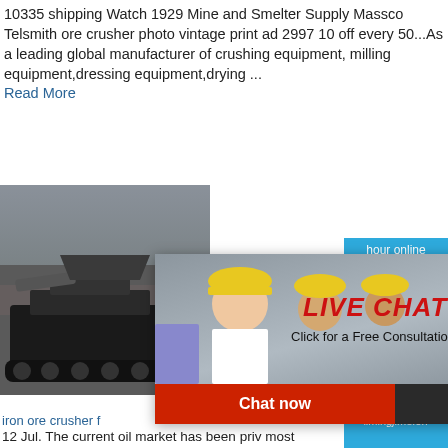10335 shipping Watch 1929 Mine and Smelter Supply Massco Telsmith ore crusher photo vintage print ad 2997 10 off every 50...As a leading global manufacturer of crushing equipment, milling equipment,dressing equipment,drying ...
Read More
[Figure (photo): Photo of a large tracked iron ore crusher machine in a rocky outdoor mining environment, dark industrial machine with tracks.]
[Figure (screenshot): Live chat popup overlay showing three workers in yellow hard hats, with text LIVE CHAT in italic red letters, subtitle 'Click for a Free Consultation', a red 'Chat now' button and dark 'Chat later' button, and a close X circle button.]
[Figure (screenshot): Blue right-side panel showing 'hour online', a white industrial cone crusher machine image, a 'Click me to chat>>' button, an 'Enquiry' label, and 'limingjlmofen' text.]
iron ore crusher f
12 Jul. The current oil market has been priv most volatile price movements in recent his are multiple reasons for these price shifts, t issues seem to be driving market sentimen European economic concern, and record U ore crusher for sale. Iranian tensions.
Read More